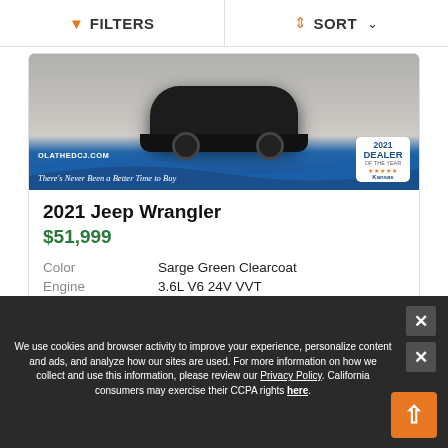FILTERS   SORT
[Figure (photo): Car listing photo showing a dark vehicle at OlatheDCJ.com dealership, with blue wave banner, script slogan 'There's Never Been a Better Time to Buy', and 2021 Dealer of the Year Kansas badge]
2021 Jeep Wrangler
$51,999
| Color | Sarge Green Clearcoat |
| Engine | 3.6L V6 24V VVT |
| Miles | 23,911 |
We use cookies and browser activity to improve your experience, personalize content and ads, and analyze how our sites are used. For more information on how we collect and use this information, please review our Privacy Policy. California consumers may exercise their CCPA rights here.